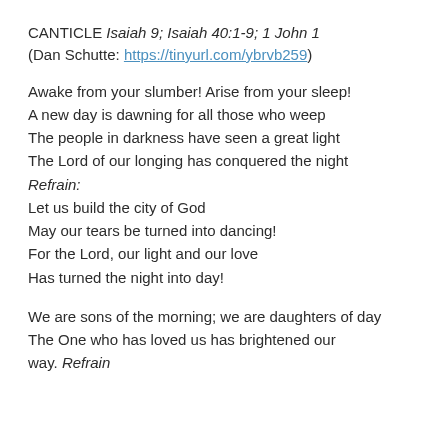CANTICLE Isaiah 9; Isaiah 40:1-9; 1 John 1
(Dan Schutte: https://tinyurl.com/ybrvb259)
Awake from your slumber! Arise from your sleep!
A new day is dawning for all those who weep
The people in darkness have seen a great light
The Lord of our longing has conquered the night
Refrain:
Let us build the city of God
May our tears be turned into dancing!
For the Lord, our light and our love
Has turned the night into day!
We are sons of the morning; we are daughters of day
The One who has loved us has brightened our way. Refrain